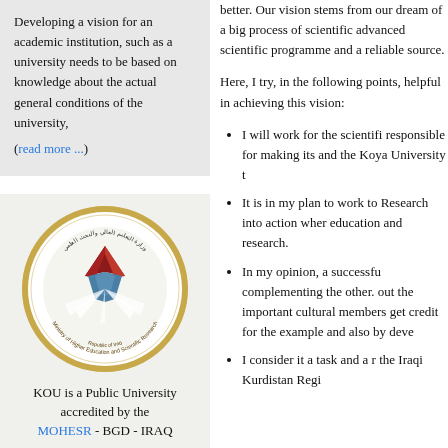Developing a vision for an academic institution, such as a university needs to be based on knowledge about the actual general conditions of the university, (read more ...)
better. Our vision stems from our dream of a big process of scientific advanced scientific programme and a reliable source.
Here, I try, in the following points, helpful in achieving this vision:
[Figure (logo): Ministry of Higher Education and Scientific Research, Republic of Iraq circular seal/logo with Arabic text and stylized book/rays graphic]
KOU is a Public University accredited by the MOHESR - BGD - IRAQ
I will work for the scientific responsible for making its and the Koya University t
It is in my plan to work to Research into action where education and research.
In my opinion, a successful complementing the other. out the important cultural members get credit for the example and also by deve
I consider it a task and a r the Iraqi Kurdistan Regi